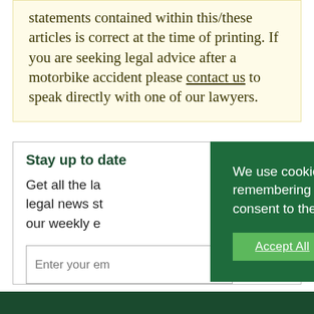statements contained within this/these articles is correct at the time of printing. If you are seeking legal advice after a motorbike accident please contact us to speak directly with one of our lawyers.
Stay up to date
Get all the la... legal news st... our weekly e...
We use cookies on our website to give you the most relevant experience by remembering your preferences and repeat visits. By clicking "Accept All", you consent to the use of cookies. Privacy Policy
Accept All